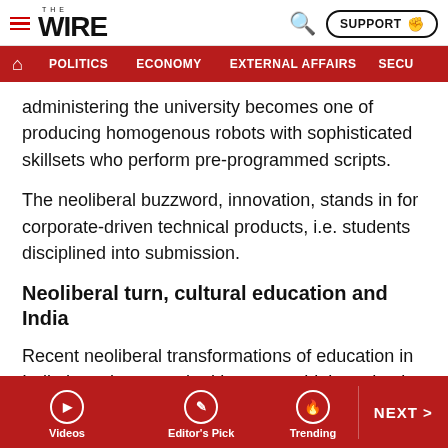THE WIRE | SUPPORT
POLITICS | ECONOMY | EXTERNAL AFFAIRS | SECU...
administering the university becomes one of producing homogenous robots with sophisticated skillsets who perform pre-programmed scripts.
The neoliberal buzzword, innovation, stands in for corporate-driven technical products, i.e. students disciplined into submission.
Neoliberal turn, cultural education and India
Recent neoliberal transformations of education in India have been marked by a parochial emphasis on skills training to complement the authoritarian impulse of a right-wing Hindu government that wants to turn universities into
Videos | Editor's Pick | Trending | NEXT >